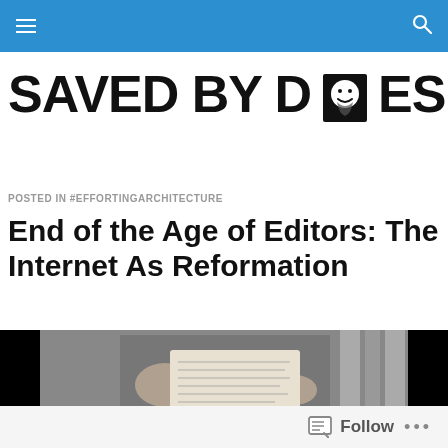SAVED BY DESIGN — navigation bar
SAVED BY DESIGN
POSTED IN #EFFORTINGARCHITECTURE
End of the Age of Editors: The Internet As Reformation
[Figure (photo): Black and white photograph of hands holding a handwritten document or scroll, with wooden background and columns visible]
Follow